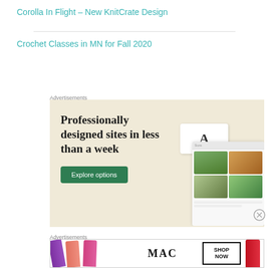Corolla In Flight – New KnitCrate Design
Crochet Classes in MN for Fall 2020
Advertisements
[Figure (illustration): Advertisement banner with beige background. Large serif text reads 'Professionally designed sites in less than a week' with a green 'Explore options' button and website mockup screenshots on the right side.]
Advertisements
[Figure (illustration): MAC Cosmetics advertisement banner showing lipsticks in purple, pink and red colors, MAC logo, and 'SHOP NOW' text in a box.]